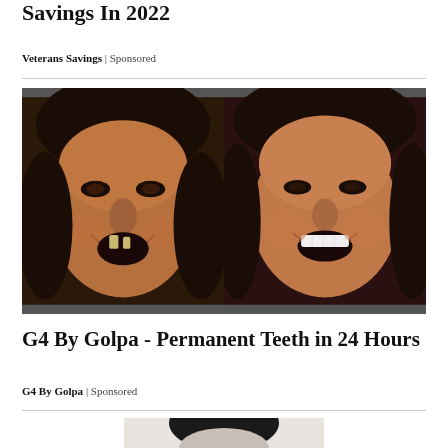Savings In 2022
Veterans Savings | Sponsored
[Figure (photo): Before and after dental photo: left side shows woman with missing/damaged teeth smiling, right side shows same woman with full white teeth after dental treatment]
G4 By Golpa - Permanent Teeth in 24 Hours
G4 By Golpa | Sponsored
[Figure (photo): Black and white portrait photo showing top of a person's head with dark hair, partially visible]